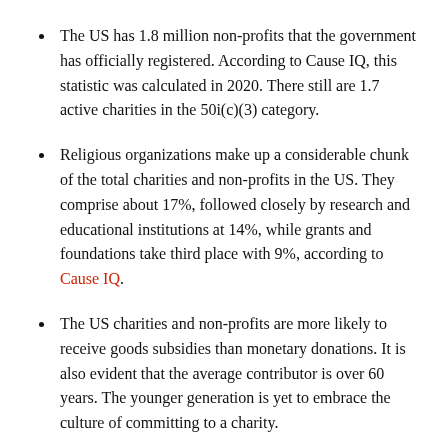The US has 1.8 million non-profits that the government has officially registered. According to Cause IQ, this statistic was calculated in 2020. There still are 1.7 active charities in the 50i(c)(3) category.
Religious organizations make up a considerable chunk of the total charities and non-profits in the US. They comprise about 17%, followed closely by research and educational institutions at 14%, while grants and foundations take third place with 9%, according to Cause IQ.
The US charities and non-profits are more likely to receive goods subsidies than monetary donations. It is also evident that the average contributor is over 60 years. The younger generation is yet to embrace the culture of committing to a charity.
However, due to the Coronavirus, there has been an increase in online donations. As an outcome, there has